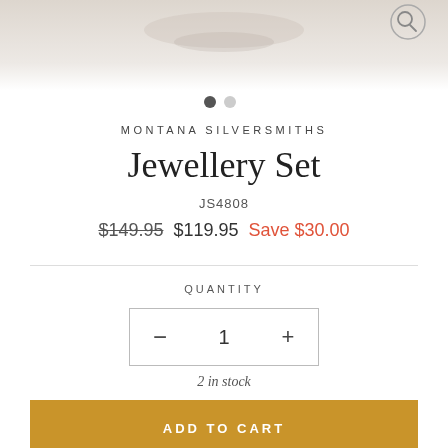[Figure (photo): Faded product image of a jewellery set at the top of the page, partially visible]
MONTANA SILVERSMITHS
Jewellery Set
JS4808
$149.95  $119.95  Save $30.00
QUANTITY
1
2 in stock
ADD TO CART
Share